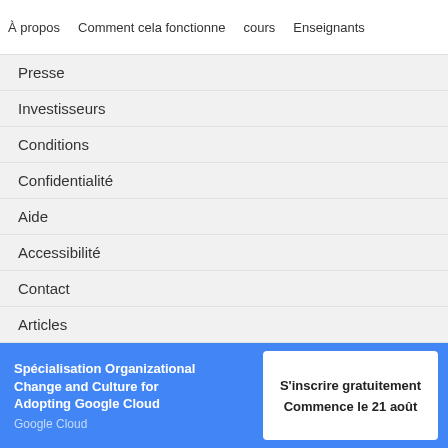À propos   Comment cela fonctionne   cours   Enseignants
Presse
Investisseurs
Conditions
Confidentialité
Aide
Accessibilité
Contact
Articles
Répertoire
Filiales
Déclaration sur l'esclavage
Spécialisation Organizational Change and Culture for Adopting Google Cloud
Google Cloud
S'inscrire gratuitement
Commence le 21 août